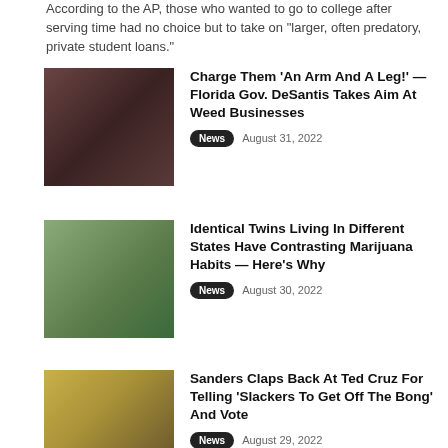According to the AP, those who wanted to go to college after serving time had no choice but to take on "larger, often predatory, private student loans."
Charge Them ‘An Arm And A Leg!’ — Florida Gov. DeSantis Takes Aim At Weed Businesses
News   August 31, 2022
Identical Twins Living In Different States Have Contrasting Marijuana Habits — Here’s Why
News   August 30, 2022
Sanders Claps Back At Ted Cruz For Telling ‘Slackers To Get Off The Bong’ And Vote
News   August 29, 2022